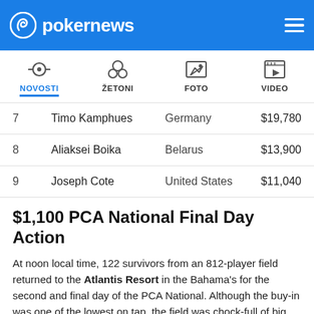pokernews
| Place | Name | Country | Prize |
| --- | --- | --- | --- |
| 7 | Timo Kamphues | Germany | $19,780 |
| 8 | Aliaksei Boika | Belarus | $13,900 |
| 9 | Joseph Cote | United States | $11,040 |
$1,100 PCA National Final Day Action
At noon local time, 122 survivors from an 812-player field returned to the Atlantis Resort in the Bahama's for the second and final day of the PCA National. Although the buy-in was one of the lowest on tap, the field was chock-full of big names looking to parlay their investment into a sweet six-figure score. With the bubble gone and everybody already